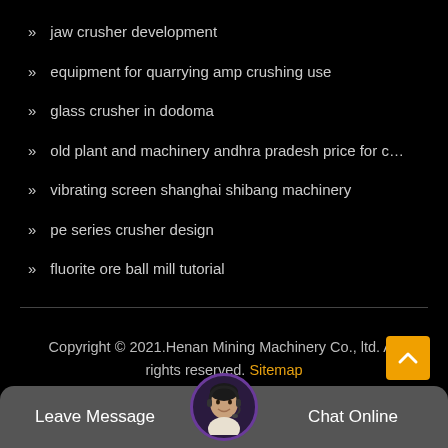jaw crusher development
equipment for quarrying amp crushing use
glass crusher in dodoma
old plant and machinery andhra pradesh price for c…
vibrating screen shanghai shibang machinery
pe series crusher design
fluorite ore ball mill tutorial
Copyright © 2021.Henan Mining Machinery Co., ltd. All rights reserved. Sitemap
Leave Message
Chat Online